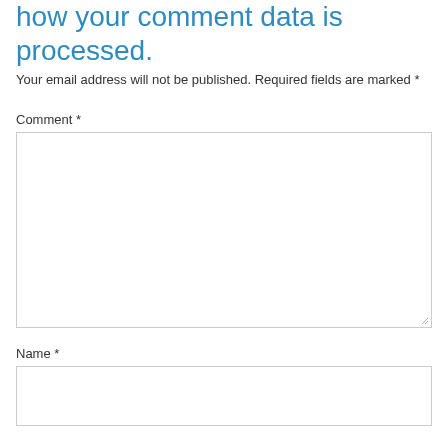how your comment data is processed.
Your email address will not be published. Required fields are marked *
Comment *
Name *